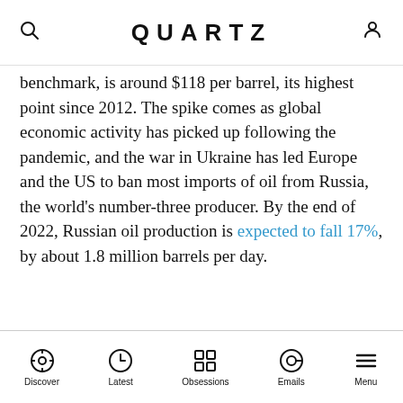QUARTZ
benchmark, is around $118 per barrel, its highest point since 2012. The spike comes as global economic activity has picked up following the pandemic, and the war in Ukraine has led Europe and the US to ban most imports of oil from Russia, the world’s number-three producer. By the end of 2022, Russian oil production is expected to fall 17%, by about 1.8 million barrels per day.
ADVERTISEMENT
Discover | Latest | Obsessions | Emails | Menu